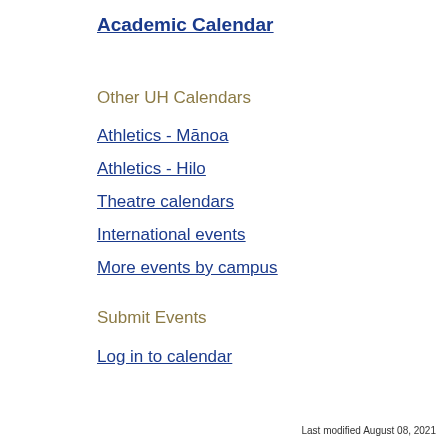Academic Calendar
Other UH Calendars
Athletics - Mānoa
Athletics - Hilo
Theatre calendars
International events
More events by campus
Submit Events
Log in to calendar
Last modified August 08, 2021